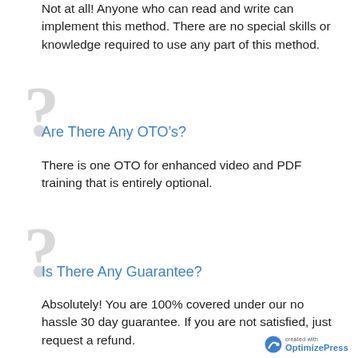Not at all! Anyone who can read and write can implement this method. There are no special skills or knowledge required to use any part of this method.
Are There Any OTO’s?
There is one OTO for enhanced video and PDF training that is entirely optional.
Is There Any Guarantee?
Absolutely! You are 100% covered under our no hassle 30 day guarantee. If you are not satisfied, just request a refund.
created with OptimizePress